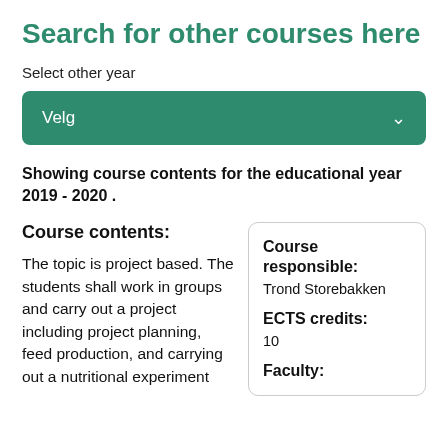Search for other courses here
Select other year
[Figure (screenshot): Green dropdown selector button labeled 'Velg' with a white chevron arrow on the right]
Showing course contents for the educational year 2019 - 2020 .
Course contents:
The topic is project based. The students shall work in groups and carry out a project including project planning, feed production, and carrying out a nutritional experiment
Course responsible:
Trond Storebakken
ECTS credits:
10
Faculty: